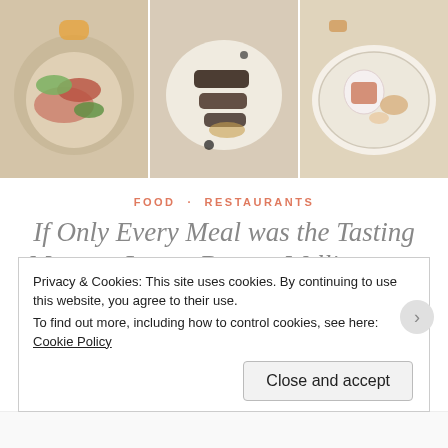[Figure (photo): Three food photos side by side: left shows a salad dish with greens and meat slices; center shows dark meat slices on a white plate; right shows a dessert or appetizer on a decorative plate.]
FOOD · RESTAURANTS
If Only Every Meal was the Tasting Menu at Logan Brown, Wellington...
November 2, 2016 · Here's to Appetite · 1 Comment
Privacy & Cookies: This site uses cookies. By continuing to use this website, you agree to their use.
To find out more, including how to control cookies, see here: Cookie Policy
Close and accept